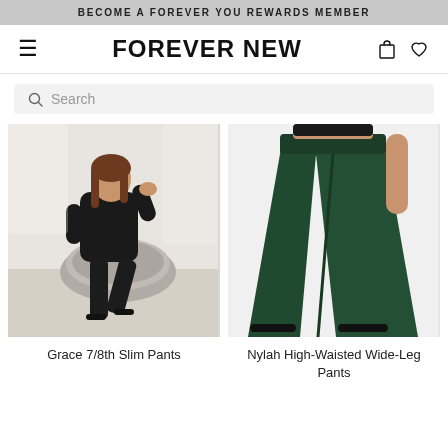BECOME A FOREVER YOU REWARDS MEMBER
FOREVER NEW
Search
[Figure (photo): Woman wearing a black blazer and slim black cropped pants sitting on a grey papasan chair with black sandals in a light interior setting]
Grace 7/8th Slim Pants
[Figure (photo): Close-up of a woman wearing dark green high-waisted wide-leg pants with a black top and black sandals against a white background]
Nylah High-Waisted Wide-Leg Pants